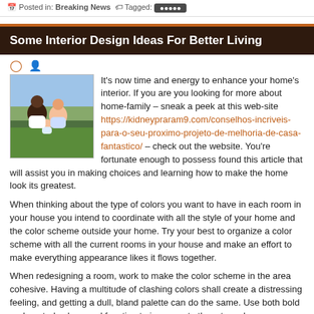Posted in: Breaking News  Tagged: [button]
Some Interior Design Ideas For Better Living
[Figure (photo): Family photo: adults and child outdoors]
It's now time and energy to enhance your home's interior. If you are you looking for more about home-family – sneak a peek at this web-site https://kidneypraram9.com/conselhos-incriveis-para-o-seu-proximo-projeto-de-melhoria-de-casa-fantastico/ – check out the website. You're fortunate enough to possess found this article that will assist you in making choices and learning how to make the home look its greatest.
When thinking about the type of colors you want to have in each room in your house you intend to coordinate with all the style of your home and the color scheme outside your home. Try your best to organize a color scheme with all the current rooms in your house and make an effort to make everything appearance likes it flows together.
When redesigning a room, work to make the color scheme in the area cohesive. Having a multitude of clashing colors shall create a distressing feeling, and getting a dull, bland palette can do the same. Use both bold and neutral colors, and function to incorporate them to make a more attractive space jointly.
A great interior design tip would be to always be aware of space when